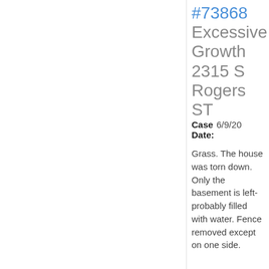#73868
Excessive Growth 2315 S Rogers ST
Case Date: 6/9/20
Grass. The house was torn down. Only the basement is left-probably filled with water. Fence removed except on one side.